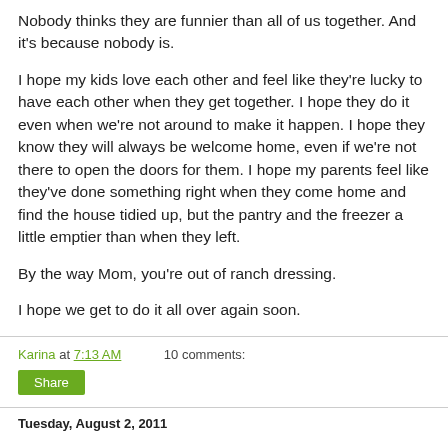Nobody thinks they are funnier than all of us together.  And it's because nobody is.
I hope my kids love each other and feel like they're lucky to have each other when they get together.  I hope they do it even when we're not around to make it happen.  I hope they know they will always be welcome home, even if we're not there to open the doors for them.  I hope my parents feel like they've done something right when they come home and find the house tidied up, but the pantry and the freezer a little emptier than when they left.
By the way Mom, you're out of ranch dressing.
I hope we get to do it all over again soon.
Karina at 7:13 AM    10 comments:
Share
Tuesday, August 2, 2011